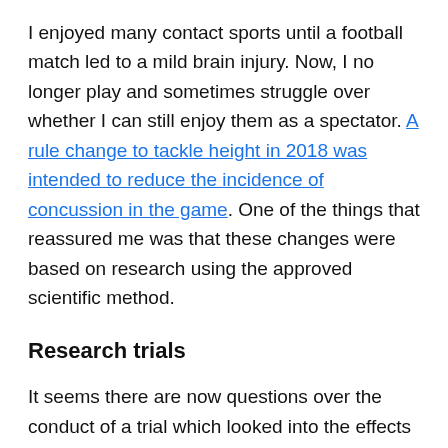I enjoyed many contact sports until a football match led to a mild brain injury. Now, I no longer play and sometimes struggle over whether I can still enjoy them as a spectator. A rule change to tackle height in 2018 was intended to reduce the incidence of concussion in the game. One of the things that reassured me was that these changes were based on research using the approved scientific method.
Research trials
It seems there are now questions over the conduct of a trial which looked into the effects of a lower limit to legal rugby tackles. In 2018, World Rugby stopped a trial into a lower tackle line after there was evidence of increased concussion in players. So far, so good. However, in August this year an article in the NRTimes reported there may be